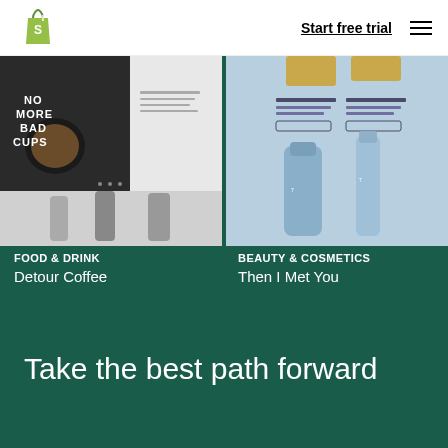Shopify logo | Start free trial | menu
[Figure (screenshot): Food & Drink product website screenshot showing 'No More Bad Cups' coffee branding with dark image and product lineup]
[Figure (screenshot): Beauty & Cosmetics product website screenshot showing skincare bottles on light blue background]
FOOD & DRINK
Detour Coffee
BEAUTY & COSMETICS
Then I Met You
Take the best path forward
[Figure (illustration): Icon of a browser/screen with cursor arrow, outline style in white on dark green]